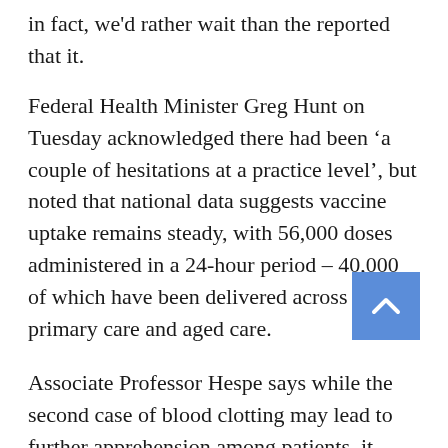in fact, we'd rather wait than the reported that it.
Federal Health Minister Greg Hunt on Tuesday acknowledged there had been ‘a couple of hesitations at a practice level’, but noted that national data suggests vaccine uptake remains steady, with 56,000 doses administered in a 24-hour period – 40,000 of which have been delivered across primary care and aged care.
Associate Professor Hespe says while the second case of blood clotting may lead to further apprehension among patients, it reaffirms the need for GPs to look into and understand the information around TTS to help patients make an informed decision.
‘The interesting thing is that although it is similar